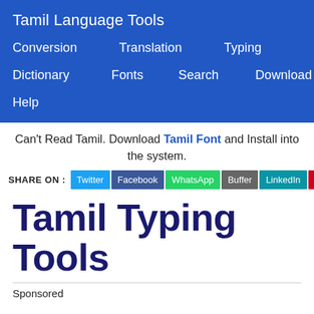Tamil Language Tools
Conversion   Translation   Typing
Dictionary   Fonts   Search   Download
Help
Can't Read Tamil. Download Tamil Font and Install into the system.
SHARE ON : Twitter Facebook WhatsApp Buffer LinkedIn Pin It
Tamil Typing Tools
Sponsored